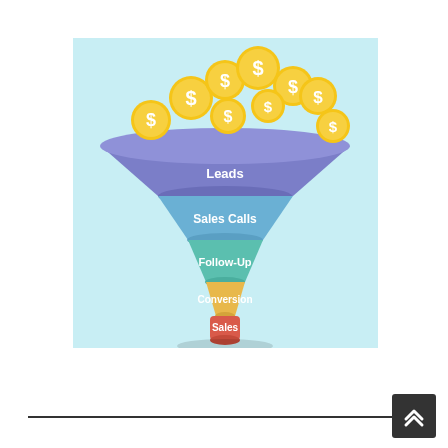[Figure (infographic): Sales funnel infographic with 5 stages: Leads, Sales Calls, Follow-Up, Conversion, Sales. Gold dollar-sign coins are shown falling into the top of the funnel. The funnel layers are colored purple/blue (Leads), medium blue (Sales Calls), teal/green (Follow-Up), orange/yellow (Conversion), and red (Sales).]